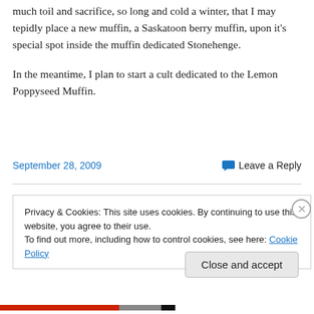much toil and sacrifice, so long and cold a winter, that I may tepidly place a new muffin, a Saskatoon berry muffin, upon it's special spot inside the muffin dedicated Stonehenge.
In the meantime, I plan to start a cult dedicated to the Lemon Poppyseed Muffin.
September 28, 2009
Leave a Reply
Privacy & Cookies: This site uses cookies. By continuing to use this website, you agree to their use.
To find out more, including how to control cookies, see here: Cookie Policy
Close and accept